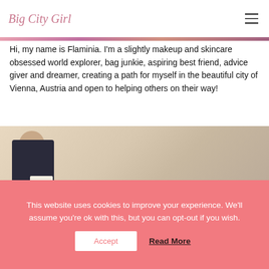Big City Girl
[Figure (photo): Colorful top image strip banner]
Hi, my name is Flaminia. I'm a slightly makeup and skincare obsessed world explorer, bag junkie, aspiring best friend, advice giver and dreamer, creating a path for myself in the beautiful city of Vienna, Austria and open to helping others on their way!
[Figure (photo): Person in dark jacket holding a paper/notebook, standing against a light beige/peach toned background]
This website uses cookies to improve your experience. We'll assume you're ok with this, but you can opt-out if you wish.
Accept   Read More